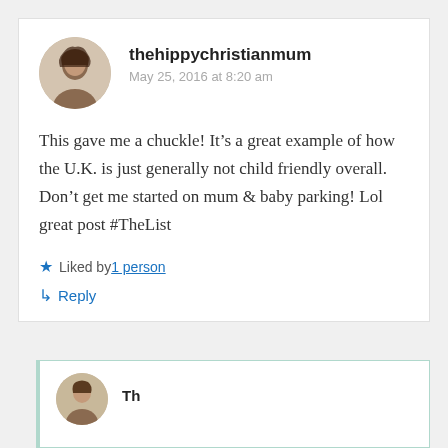thehippychristianmum
May 25, 2016 at 8:20 am
This gave me a chuckle! It’s a great example of how the U.K. is just generally not child friendly overall. Don’t get me started on mum & baby parking! Lol great post #TheList
Liked by 1 person
Reply
[Figure (photo): Circular avatar photo of a woman with dark hair, partially cropped at bottom of page in a nested reply block]